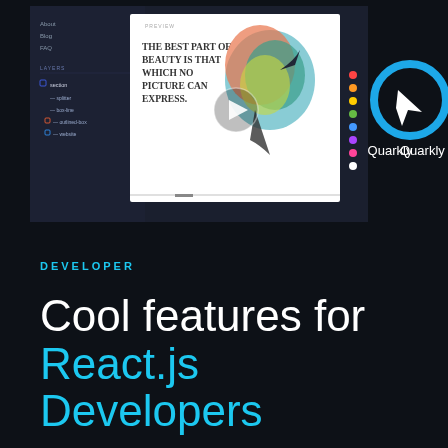[Figure (screenshot): Screenshot of a dark-themed web design application (Quarkly) showing a layers panel on the left, a white canvas with decorative text in the center, a play button overlay, and the Quarkly logo (blue Q with white arrow and text) on the right]
DEVELOPER
Cool features for React.js Developers